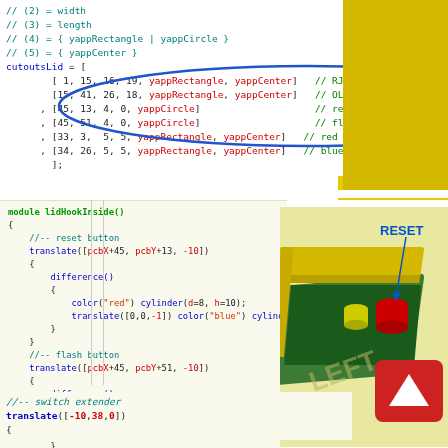[Figure (screenshot): Code snippet showing cutoutsLid array with yappRectangle and yappCircle entries, some lines circled in blue ellipse]
[Figure (screenshot): Code snippet showing module lidHookInside() with reset button and flash button translate/difference/color cylinder operations]
[Figure (engineering-diagram): 3D render of PCB enclosure showing RESET label with arrow, yellow box with cylindrical buttons (red and yellow), LEFT text visible]
[Figure (other): Red square icon with white triangle/play button]
[Figure (screenshot): Code snippet showing switch extender with translate([-10,38,0])]